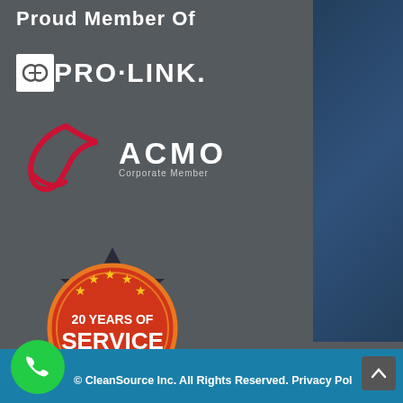Proud Member Of
[Figure (logo): PRO·LINK logo with chain-link icon in white on dark background]
[Figure (logo): ACMO Corporate Member logo with red swoosh/checkmark icon and white ACMO text]
[Figure (other): 20 Years of Service badge (2000-2020), circular red and orange badge with gold stars and dark ribbon banner]
© CleanSource Inc. All Rights Reserved. Privacy Pol...